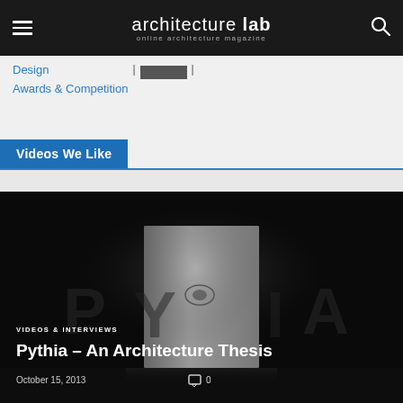architecture lab — online architecture magazine
Design
Awards & Competition
Videos We Like
[Figure (screenshot): Dark atmospheric photo of an architectural model/object (rectangular form) with misty lighting on a dark background. Text overlay shows category 'VIDEOS & INTERVIEWS', title 'Pythia – An Architecture Thesis', date 'October 15, 2013' and comment count '0'.]